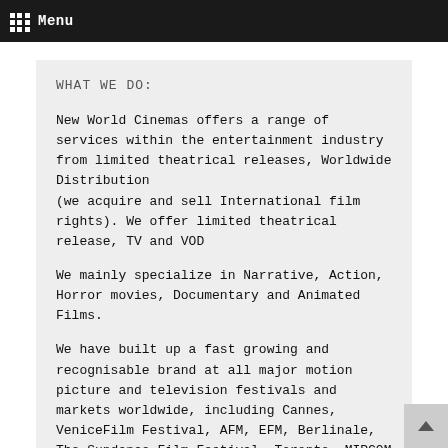Menu
WHAT WE DO:
New World Cinemas offers a range of services within the entertainment industry from limited theatrical releases, Worldwide Distribution (we acquire and sell International film rights). We offer limited theatrical release, TV and VOD
We mainly specialize in Narrative, Action, Horror movies, Documentary and Animated Films.
We have built up a fast growing and recognisable brand at all major motion picture and television festivals and markets worldwide, including Cannes, VeniceFilm Festival, AFM, EFM, Berlinale, The Sundance Film Festival, Toronto, MIPCOM and